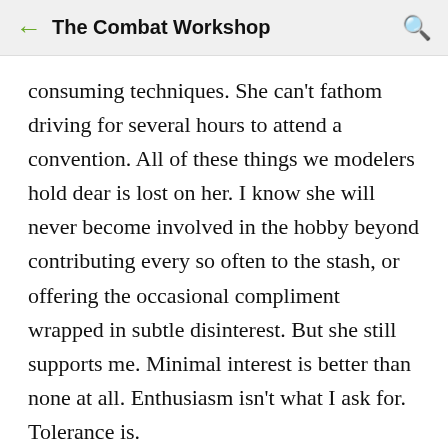The Combat Workshop
consuming techniques. She can't fathom driving for several hours to attend a convention. All of these things we modelers hold dear is lost on her. I know she will never become involved in the hobby beyond contributing every so often to the stash, or offering the occasional compliment wrapped in subtle disinterest. But she still supports me. Minimal interest is better than none at all. Enthusiasm isn't what I ask for. Tolerance is.
In the end, there are two things that I hope for